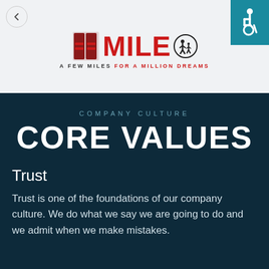[Figure (logo): 8 Mile charity logo with red text MILE, silhouette of adult and child, tagline A FEW MILES FOR A MILLION DREAMS]
[Figure (illustration): Accessibility icon (wheelchair symbol) in white on teal/blue background in top right corner]
COMPANY CULTURE
CORE VALUES
Trust
Trust is one of the foundations of our company culture. We do what we say we are going to do and we admit when we make mistakes.